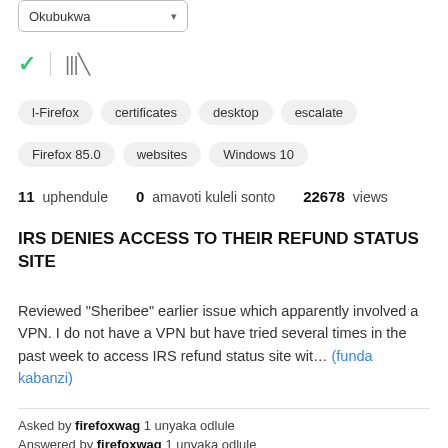[Figure (screenshot): Dropdown box showing 'Okubukwa' with a down arrow]
[Figure (screenshot): Checkmark icon and stacked lines icon]
l-Firefox
certificates
desktop
escalate
Firefox 85.0
websites
Windows 10
11 uphendule 0 amavoti kuleli sonto 22678 views
IRS DENIES ACCESS TO THEIR REFUND STATUS SITE
Reviewed "Sheribee" earlier issue which apparently involved a VPN. I do not have a VPN but have tried several times in the past week to access IRS refund status site wit… (funda kabanzi)
Asked by firefoxwag 1 unyaka odlule
Answered by firefoxwag 1 unyaka odlule